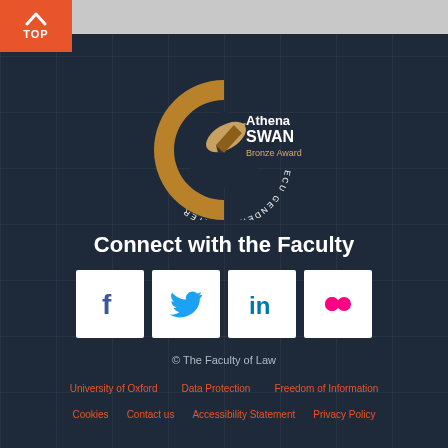[Figure (logo): Athena SWAN Bronze Award ECU Gender Charter circular logo with pen/quill icon]
Connect with the Faculty
[Figure (infographic): Social media icons row: Facebook, Twitter, LinkedIn, Flickr in white square boxes]
© The Faculty of Law
University of Oxford | Data Protection | Freedom of Information | Cookies | Contact us | Accessibility Statement | Privacy Policy